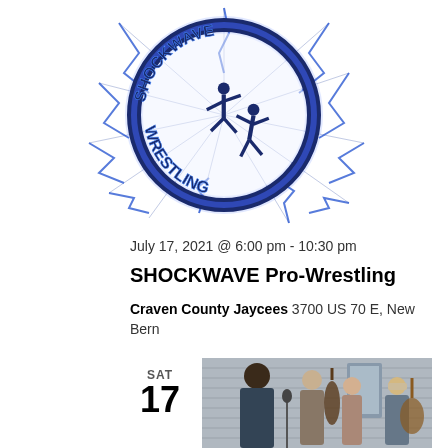[Figure (logo): Shockwave Wrestling logo — circular lightning bolt design with two wrestlers grappling in the center, text 'SHOCKWAVE' arching across the top and 'WRESTLING' across the bottom, in dark blue on white background with electric lightning effects]
July 17, 2021 @ 6:00 pm - 10:30 pm
SHOCKWAVE Pro-Wrestling
Craven County Jaycees 3700 US 70 E, New Bern
SAT
17
[Figure (photo): Outdoor band performance photo showing musicians playing instruments including a double bass/cello, microphone stand, and other string instruments; people visible include a man with dark hair in foreground, older woman, and others in background near a house with gray siding]